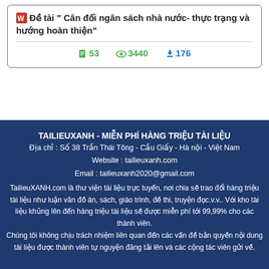Đề tài " Cân đối ngân sách nhà nước- thực trạng và hướng hoàn thiện"
53  3440  176
TAILIEUXANH - MIỄN PHÍ HÀNG TRIỆU TÀI LIỆU
Địa chỉ : Số 38 Trần Thái Tông - Cầu Giấy - Hà nội - Việt Nam
Website : tailieuxanh.com
Email : tailieuxanh2020@gmail.com
TailieuXANH.com là thư viện tài liệu trực tuyến, nơi chia sẽ trao đổi hàng triệu tài liệu như luận văn đồ án, sách, giáo trình, đề thi, truyện đọc.v.v.. Với kho tài liệu khủng lên đến hàng triệu tài liệu sẽ được miễn phí tới 99,99% cho các thành viên.
Chúng tôi không chịu trách nhiệm liên quan đến các vấn đề bản quyền nội dung tài liệu được thành viên tự nguyện đăng tải lên và các cộng tác viên gửi về.